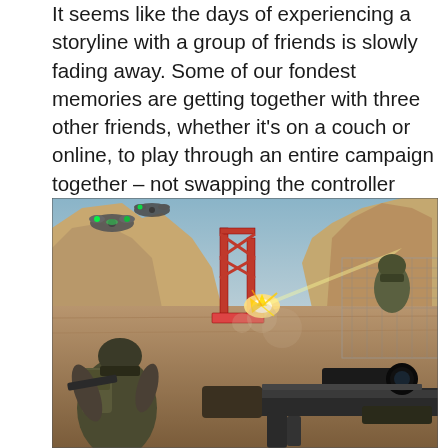It seems like the days of experiencing a storyline with a group of friends is slowly fading away. Some of our fondest memories are getting together with three other friends, whether it's on a couch or online, to play through an entire campaign together – not swapping the controller around, but actually everyone playing at once. It's a feat that the previous Black Ops titles managed to achieve, so it only makes sense for it to be included in this latest entry into the series.
[Figure (photo): First-person shooter video game screenshot showing a military combat scene. Soldiers in tactical gear are visible on the left, with one holding a weapon with a scope in the foreground. Flying drones with green lights are visible in the upper left. A red metal crane or tower structure is in the center background. Rocky desert terrain and blue sky visible. This appears to be from Call of Duty: Black Ops.]